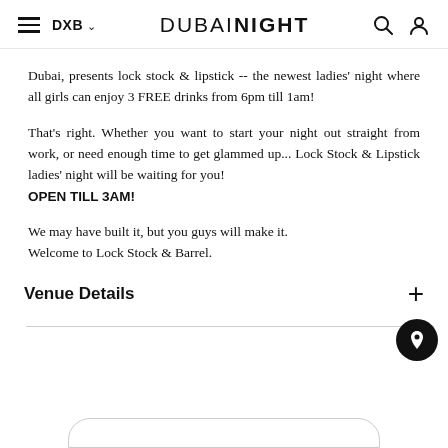DUBAI NIGHT — DXB
Dubai, presents lock stock & lipstick -- the newest ladies' night where all girls can enjoy 3 FREE drinks from 6pm till 1am!
That's right. Whether you want to start your night out straight from work, or need enough time to get glammed up... Lock Stock & Lipstick ladies' night will be waiting for you!
OPEN TILL 3AM!
We may have built it, but you guys will make it. Welcome to Lock Stock & Barrel.
Venue Details